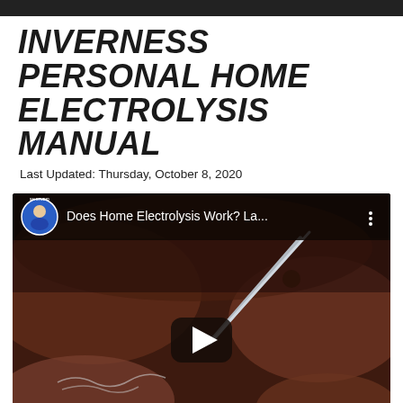INVERNESS PERSONAL HOME ELECTROLYSIS MANUAL
Last Updated: Thursday, October 8, 2020
[Figure (screenshot): Embedded YouTube video thumbnail showing a close-up of electrolysis being performed on skin with tweezers, with a play button overlay and the video title 'Does Home Electrolysis Work? La...' and a channel avatar in the top bar.]